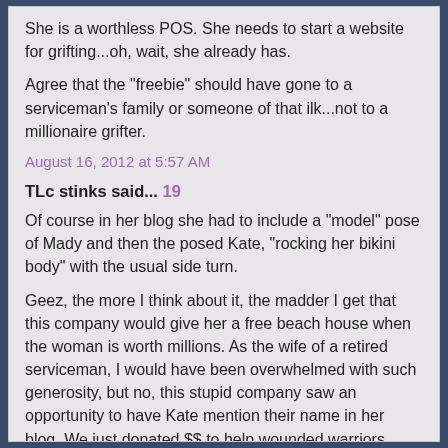She is a worthless POS. She needs to start a website for grifting...oh, wait, she already has.
Agree that the "freebie" should have gone to a serviceman's family or someone of that ilk...not to a millionaire grifter.
August 16, 2012 at 5:57 AM
TLc stinks said... 19
Of course in her blog she had to include a "model" pose of Mady and then the posed Kate, "rocking her bikini body" with the usual side turn.
Geez, the more I think about it, the madder I get that this company would give her a free beach house when the woman is worth millions. As the wife of a retired serviceman, I would have been overwhelmed with such generosity, but no, this stupid company saw an opportunity to have Kate mention their name in her blog. We just donated $$ to help wounded warriors have a vacation and all this company could think about was giving Kate Gosselin a free vacay.